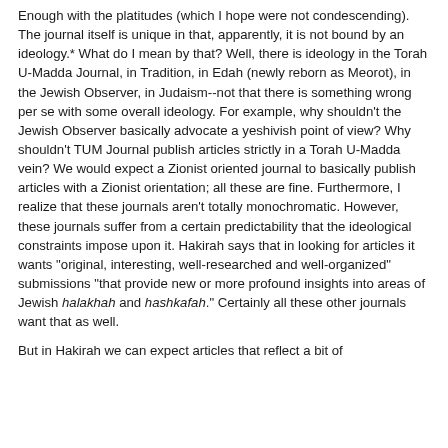Enough with the platitudes (which I hope were not condescending). The journal itself is unique in that, apparently, it is not bound by an ideology.* What do I mean by that? Well, there is ideology in the Torah U-Madda Journal, in Tradition, in Edah (newly reborn as Meorot), in the Jewish Observer, in Judaism--not that there is something wrong per se with some overall ideology. For example, why shouldn't the Jewish Observer basically advocate a yeshivish point of view? Why shouldn't TUM Journal publish articles strictly in a Torah U-Madda vein? We would expect a Zionist oriented journal to basically publish articles with a Zionist orientation; all these are fine. Furthermore, I realize that these journals aren't totally monochromatic. However, these journals suffer from a certain predictability that the ideological constraints impose upon it. Hakirah says that in looking for articles it wants "original, interesting, well-researched and well-organized" submissions "that provide new or more profound insights into areas of Jewish halakhah and hashkafah." Certainly all these other journals want that as well.
But in Hakirah we can expect articles that reflect a bit of